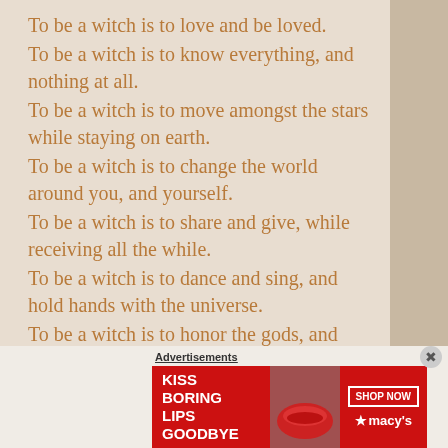To be a witch is to love and be loved.
To be a witch is to know everything, and nothing at all.
To be a witch is to move amongst the stars while staying on earth.
To be a witch is to change the world around you, and yourself.
To be a witch is to share and give, while receiving all the while.
To be a witch is to dance and sing, and hold hands with the universe.
To be a witch is to honor the gods, and yourself.
To be a witch is to be magick, not just perform it.
Advertisements
[Figure (photo): Advertisement banner: red background with white text 'KISS BORING LIPS GOODBYE', photo of woman with red lipstick, SHOP NOW button, and Macy's logo with star]